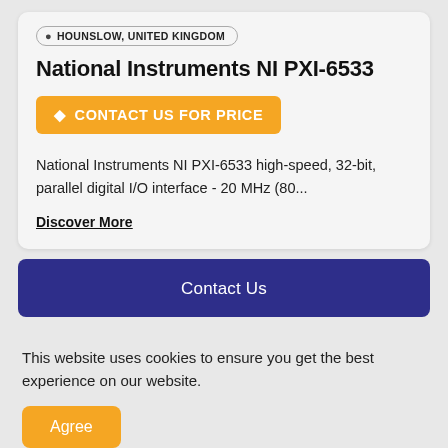HOUNSLOW, UNITED KINGDOM
National Instruments NI PXI-6533
CONTACT US FOR PRICE
National Instruments NI PXI-6533 high-speed, 32-bit, parallel digital I/O interface - 20 MHz (80...
Discover More
Contact Us
This website uses cookies to ensure you get the best experience on our website.
Agree